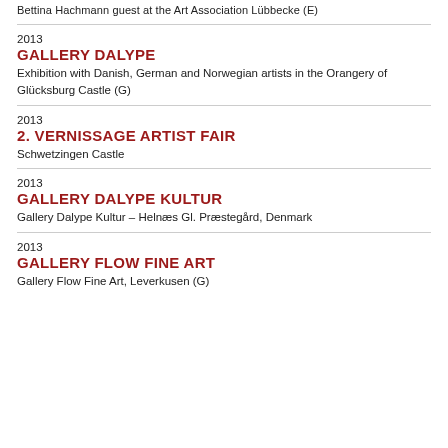Bettina Hachmann guest at the Art Association Lübbecke (E)
2013
GALLERY DALYPE
Exhibition with Danish, German and Norwegian artists in the Orangery of Glücksburg Castle (G)
2013
2. VERNISSAGE ARTIST FAIR
Schwetzingen Castle
2013
GALLERY DALYPE KULTUR
Gallery Dalype Kultur – Helnæs Gl. Præstegård, Denmark
2013
GALLERY FLOW FINE ART
Gallery Flow Fine Art, Leverkusen (G)